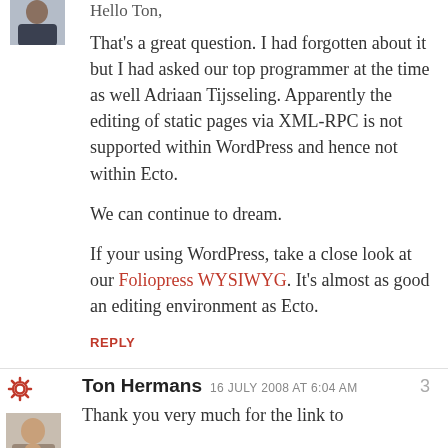[Figure (photo): Partial avatar photo at top, showing a person in dark clothing]
Hello Ton,
That's a great question. I had forgotten about it but I had asked our top programmer at the time as well Adriaan Tijsseling. Apparently the editing of static pages via XML-RPC is not supported within WordPress and hence not within Ecto.
We can continue to dream.
If your using WordPress, take a close look at our Foliopress WYSIWYG. It's almost as good an editing environment as Ecto.
REPLY
[Figure (photo): Gear/settings icon (red) and avatar photo of Ton Hermans]
Ton Hermans  16 JULY 2008 AT 6:04 AM  3
Thank you very much for the link to